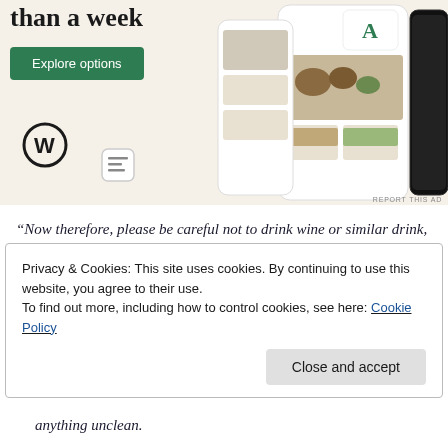[Figure (screenshot): WordPress.com advertisement banner with beige background showing app mockups with food photos, WordPress logo, and 'Explore options' green button. Text reads 'than a week' (partial headline).]
“Now therefore, please be careful not to drink wine or similar drink, and not to eat anything unclean. For behold, you shall conceive and bear a son. And no razor shall come upon his head, for the child shall be a Nazirite to God from the womb; and
Privacy & Cookies: This site uses cookies. By continuing to use this website, you agree to their use.
To find out more, including how to control cookies, see here: Cookie Policy
anything unclean